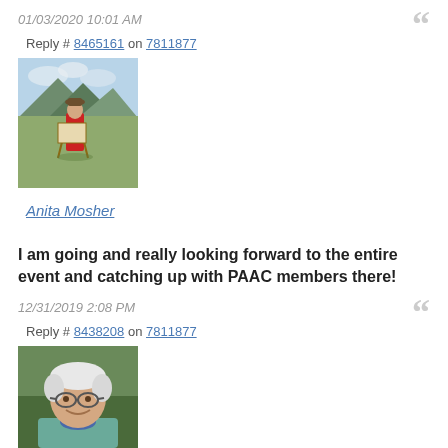01/03/2020 10:01 AM
Reply # 8465161 on 7811877
[Figure (photo): Anita Mosher profile photo - person painting outdoors in red jacket with mountain/forest landscape background]
Anita Mosher
I am going and really looking forward to the entire event and catching up with PAAC members there!
12/31/2019 2:08 PM
Reply # 8438208 on 7811877
[Figure (photo): Male profile photo - older man with white hair, glasses, smiling, outdoor background]